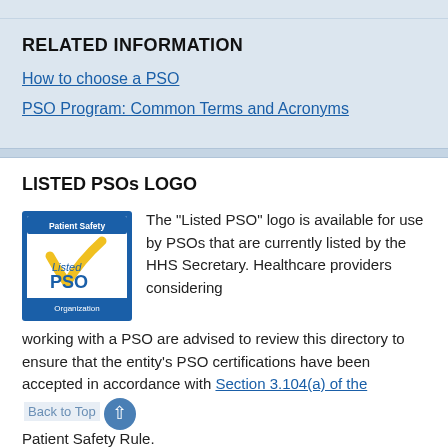RELATED INFORMATION
How to choose a PSO
PSO Program: Common Terms and Acronyms
LISTED PSOs LOGO
[Figure (logo): Listed PSO Organization logo — blue square border with yellow checkmark and text 'Patient Safety', 'Listed PSO', 'Organization']
The "Listed PSO" logo is available for use by PSOs that are currently listed by the HHS Secretary. Healthcare providers considering working with a PSO are advised to review this directory to ensure that the entity's PSO certifications have been accepted in accordance with Section 3.104(a) of the Patient Safety Rule.